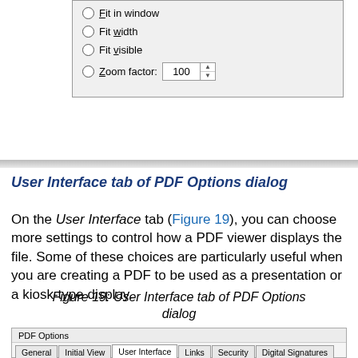[Figure (screenshot): Top portion of a dialog box showing radio button options: Fit in window, Fit width, Fit visible, and Zoom factor (with value 100 in a spinner control)]
User Interface tab of PDF Options dialog
On the User Interface tab (Figure 19), you can choose more settings to control how a PDF viewer displays the file. Some of these choices are particularly useful when you are creating a PDF to be used as a presentation or a kiosk-type display.
Figure 19: User Interface tab of PDF Options dialog
[Figure (screenshot): Bottom portion showing PDF Options dialog with tabs: General, Initial View, User Interface, Links, Security, Digital Signatures]